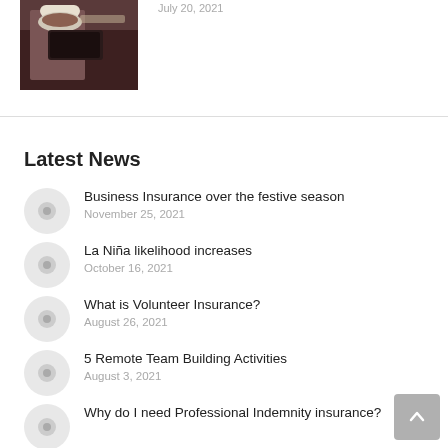[Figure (photo): Person holding a tray with coffee cup and food, restaurant/cafe setting]
July 20, 2021
Latest News
Business Insurance over the festive season
November 25, 2021
La Niña likelihood increases
October 16, 2021
What is Volunteer Insurance?
August 26, 2021
5 Remote Team Building Activities
August 3, 2021
Why do I need Professional Indemnity insurance?